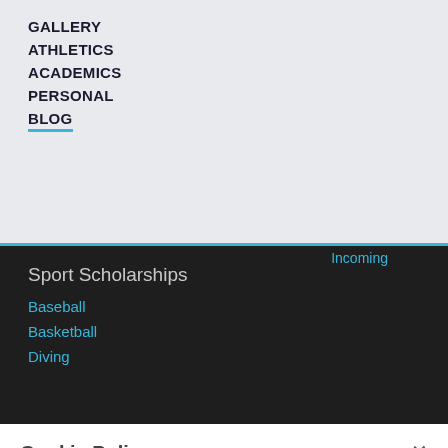GALLERY
ATHLETICS
ACADEMICS
PERSONAL
BLOG
Sport Scholarships
Baseball
Basketball
Diving
Cookie Policy
By clicking "Accept All Cookies", you agree to the storing of cookies on your device to enhance site navigation, analyze site usage, and assist in our marketing efforts.
Cookies Settings
Accept All Cookies